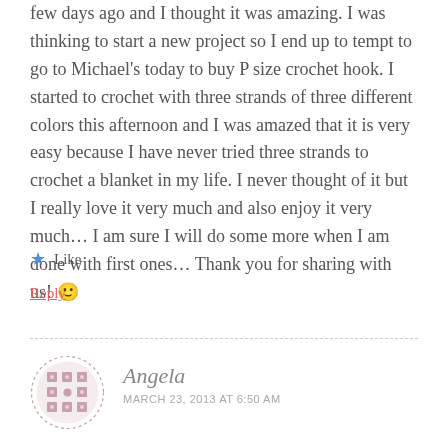few days ago and I thought it was amazing. I was thinking to start a new project so I end up to tempt to go to Michael's today to buy P size crochet hook. I started to crochet with three strands of three different colors this afternoon and I was amazed that it is very easy because I have never tried three strands to crochet a blanket in my life. I never thought of it but I really love it very much and also enjoy it very much… I am sure I will do some more when I am done with first ones… Thank you for sharing with us! 🙂
★ Like
Reply
[Figure (illustration): Circular avatar with decorative geometric/floral pattern in pink/mauve tones with dotted border]
Angela
MARCH 23, 2013 AT 6:50 AM